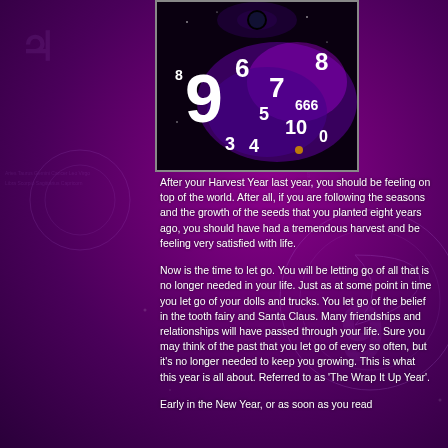[Figure (illustration): Dark cosmic/space image with numbers scattered across it: 9 (large), 6, 7, 8, 5, 10, 666, 3, 4, 0 floating in a starfield background with a purple galaxy effect and what appears to be an eye at the top]
After your Harvest Year last year, you should be feeling on top of the world. After all, if you are following the seasons and the growth of the seeds that you planted eight years ago, you should have had a tremendous harvest and be feeling very satisfied with life.
Now is the time to let go. You will be letting go of all that is no longer needed in your life. Just as at some point in time you let go of your dolls and trucks. You let go of the belief in the tooth fairy and Santa Claus. Many friendships and relationships will have passed through your life. Sure you may think of the past that you let go of every so often, but it's no longer needed to keep you growing. This is what this year is all about. Referred to as 'The Wrap It Up Year'.
Early in the New Year, or as soon as you read